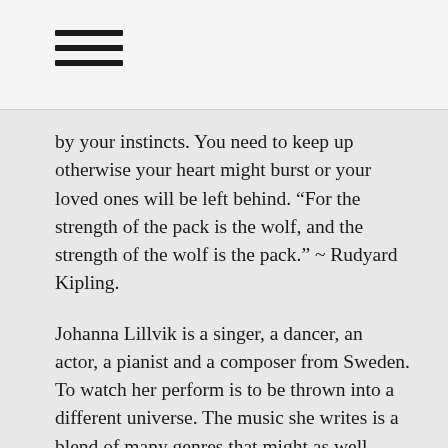[Figure (other): Hamburger menu icon — three horizontal black lines stacked vertically]
by your instincts. You need to keep up otherwise your heart might burst or your loved ones will be left behind. “For the strength of the pack is the wolf, and the strength of the wolf is the pack.” ~ Rudyard Kipling.
Johanna Lillvik is a singer, a dancer, an actor, a pianist and a composer from Sweden. To watch her perform is to be thrown into a different universe. The music she writes is a blend of many genres that might as well make her the inventor of one. "Wolves" is yet another rare gem and the anticipation for the release of her album in 2022 is growing to outrageous proportions.
SWEDISH :